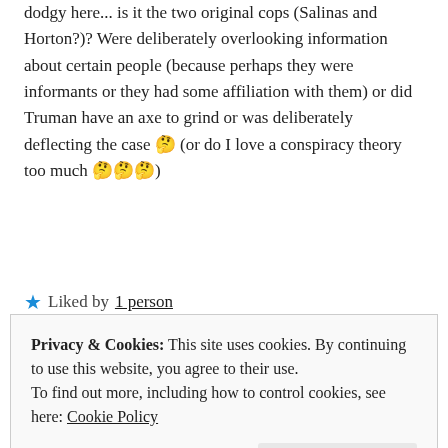dodgy here... is it the two original cops (Salinas and Horton?)? Were deliberately overlooking information about certain people (because perhaps they were informants or they had some affiliation with them) or did Truman have an axe to grind or was deliberately deflecting the case 🤔 (or do I love a conspiracy theory too much 🤔🤔🤔)
★ Liked by 1 person
Reply
bkl67 | March 26, 2022 at 12:06 pm
Privacy & Cookies: This site uses cookies. By continuing to use this website, you agree to their use. To find out more, including how to control cookies, see here: Cookie Policy
Close and accept
be abrasive, offsetting, pushed people away